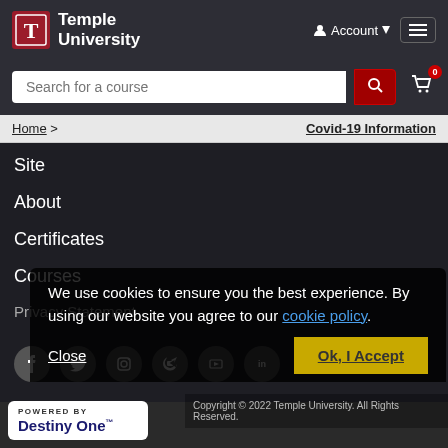[Figure (screenshot): Temple University website screenshot showing navigation header with logo, search bar, breadcrumb, mobile menu with site links, cookie consent overlay, social media icons, copyright, and Powered by Destiny One footer]
Temple University
Account
Search for a course
Home > Covid-19 Information
Site
About
Certificates
Courses
Privacy Statement
Request Information
Follow Temple University
We use cookies to ensure you the best experience. By using our website you agree to our cookie policy.
Close
Ok, I Accept
Copyright © 2022 Temple University. All Rights Reserved.
[Figure (logo): Powered by Destiny One logo]